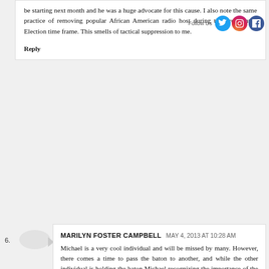be starting next month and he was a huge advocate for this cause. I also note the same practice of removing popular African American radio host during the Presidential Election time frame. This smells of tactical suppression to me.
Reply
MARILYN FOSTER CAMPBELL MAY 4, 2013 AT 10:28 AM
Michael is a very cool individual and will be missed by many. However, there comes a time to pass the baton to another, and while the other individual is holding the baton Michael recognizing the importance of the work will need to lead the pack with providing support for this individual. Michael know or should know that the work must go on, and the work is to expansive for one individual. Michael is not the only one tasked with or capable of getting the work done. God has a "Bigger Plan" and oftentimes we get comfortable in our present positions, and when changes come we hold